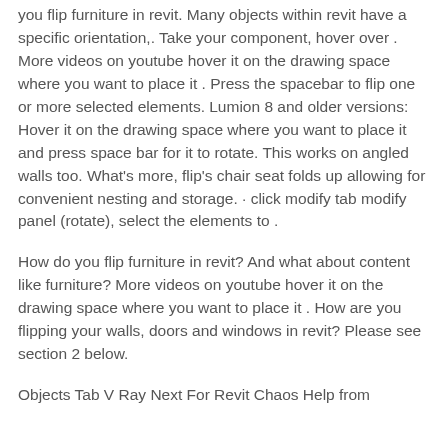you flip furniture in revit. Many objects within revit have a specific orientation,. Take your component, hover over . More videos on youtube hover it on the drawing space where you want to place it . Press the spacebar to flip one or more selected elements. Lumion 8 and older versions: Hover it on the drawing space where you want to place it and press space bar for it to rotate. This works on angled walls too. What's more, flip's chair seat folds up allowing for convenient nesting and storage. · click modify tab modify panel (rotate), select the elements to .
How do you flip furniture in revit? And what about content like furniture? More videos on youtube hover it on the drawing space where you want to place it . How are you flipping your walls, doors and windows in revit? Please see section 2 below.
Objects Tab V Ray Next For Revit Chaos Help from